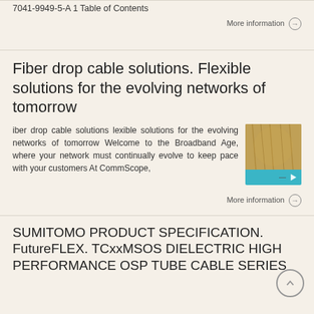7041-9949-5-A 1 Table of Contents
More information →
Fiber drop cable solutions. Flexible solutions for the evolving networks of tomorrow
iber drop cable solutions lexible solutions for the evolving networks of tomorrow Welcome to the Broadband Age, where your network must continually evolve to keep pace with your customers At CommScope,
[Figure (photo): Fiber cable product photo with teal/blue branding strip at bottom showing CommScope logo or chevron mark]
More information →
SUMITOMO PRODUCT SPECIFICATION. FutureFLEX. TCxxMSOS DIELECTRIC HIGH PERFORMANCE OSP TUBE CABLE SERIES